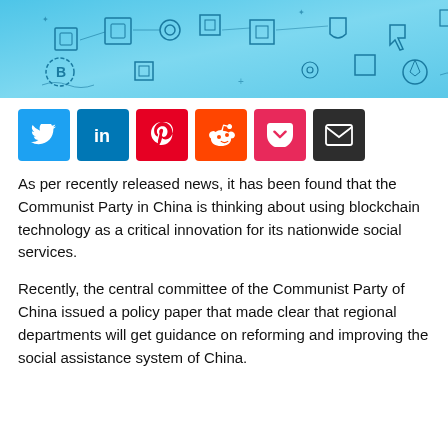[Figure (illustration): Blockchain technology themed banner illustration with blue background showing connected blocks, gears, cryptocurrency symbols (Bitcoin B), shield, pointing hand cursor, and various technology icons in an isometric flat design style.]
[Figure (infographic): Row of six social media sharing buttons: Twitter (blue), LinkedIn (dark blue), Pinterest (red), Reddit (orange-red), Pocket (pink-red), Email (dark gray)]
As per recently released news, it has been found that the Communist Party in China is thinking about using blockchain technology as a critical innovation for its nationwide social services.
Recently, the central committee of the Communist Party of China issued a policy paper that made clear that regional departments will get guidance on reforming and improving the social assistance system of China.